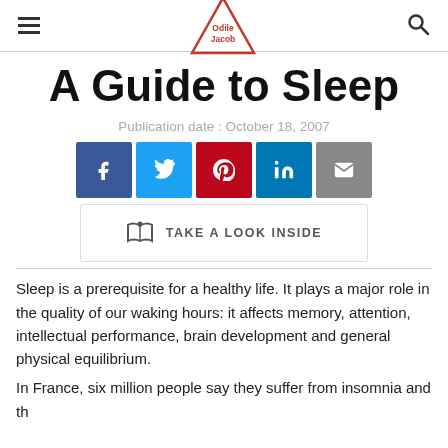Odile Jacob
A Guide to Sleep
Publication date : October 18, 2007
[Figure (other): Social media share buttons: Facebook, Twitter, Pinterest, LinkedIn, Email]
[Figure (other): Take a Look Inside button with open book icon]
Sleep is a prerequisite for a healthy life. It plays a major role in the quality of our waking hours: it affects memory, attention, intellectual performance, brain development and general physical equilibrium.
In France, six million people say they suffer from insomnia and th